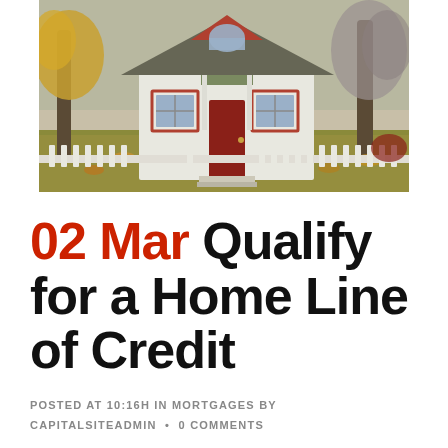[Figure (photo): A small white cottage-style house with a dark red front door, white picket fence, and autumn foliage surrounding it. Fallen yellow leaves cover the lawn and ground around the house.]
02 Mar Qualify for a Home Line of Credit
POSTED AT 10:16H IN MORTGAGES BY CAPITALSITEADMIN  •  0 COMMENTS